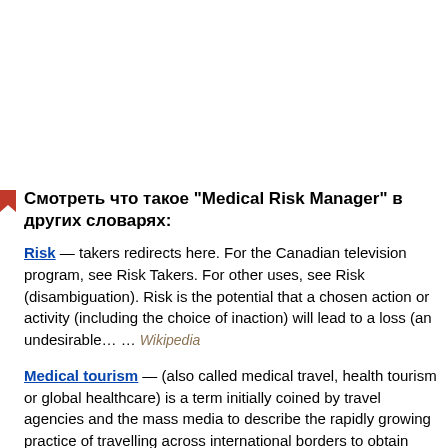Смотреть что такое "Medical Risk Manager" в других словарях:
Risk — takers redirects here. For the Canadian television program, see Risk Takers. For other uses, see Risk (disambiguation). Risk is the potential that a chosen action or activity (including the choice of inaction) will lead to a loss (an undesirable… … Wikipedia
Medical tourism — (also called medical travel, health tourism or global healthcare) is a term initially coined by travel agencies and the mass media to describe the rapidly growing practice of travelling across international borders to obtain health care. It also… …